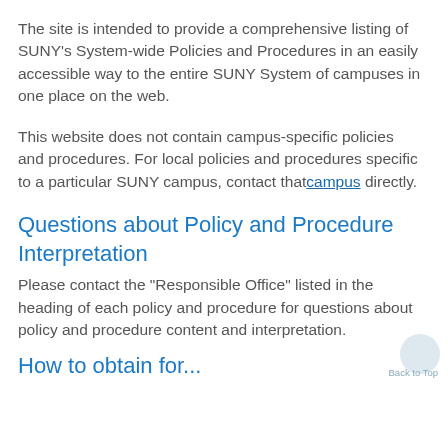The site is intended to provide a comprehensive listing of SUNY's System-wide Policies and Procedures in an easily accessible way to the entire SUNY System of campuses in one place on the web.
This website does not contain campus-specific policies and procedures. For local policies and procedures specific to a particular SUNY campus, contact that campus directly.
Questions about Policy and Procedure Interpretation
Please contact the "Responsible Office" listed in the heading of each policy and procedure for questions about policy and procedure content and interpretation.
How to obtain for...